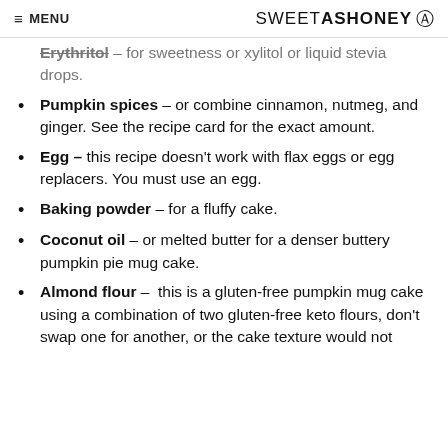≡ MENU   SWEETASHONEY ⊙
Erythritol – for sweetness or xylitol or liquid stevia drops.
Pumpkin spices – or combine cinnamon, nutmeg, and ginger. See the recipe card for the exact amount.
Egg – this recipe doesn't work with flax eggs or egg replacers. You must use an egg.
Baking powder – for a fluffy cake.
Coconut oil – or melted butter for a denser buttery pumpkin pie mug cake.
Almond flour –  this is a gluten-free pumpkin mug cake using a combination of two gluten-free keto flours, don't swap one for another, or the cake texture would not